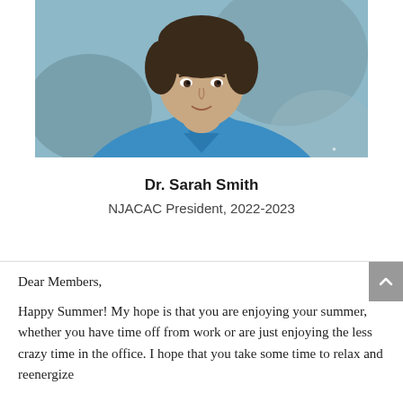[Figure (photo): Portrait photo of Dr. Sarah Smith wearing a blue polo shirt, cropped to show upper body and face, with blurred outdoor background.]
Dr. Sarah Smith
NJACAC President, 2022-2023
Dear Members,
Happy Summer! My hope is that you are enjoying your summer, whether you have time off from work or are just enjoying the less crazy time in the office. I hope that you take some time to relax and reenergize